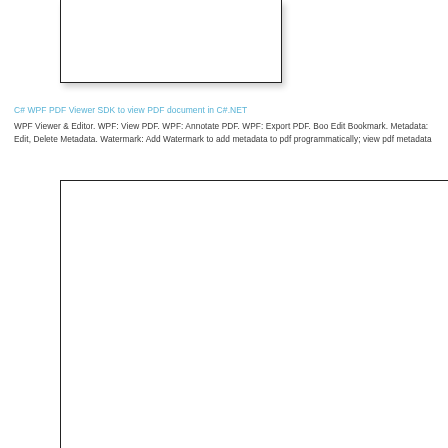[Figure (screenshot): Top portion of a white rectangular box with left, right, and bottom borders, clipped at the top of the page, with a drop shadow.]
C# WPF PDF Viewer SDK to view PDF document in C#.NET
WPF Viewer & Editor. WPF: View PDF. WPF: Annotate PDF. WPF: Export PDF. Boo Edit Bookmark. Metadata: Edit, Delete Metadata. Watermark: Add Watermark to add metadata to pdf programmatically; view pdf metadata
[Figure (screenshot): Large white rectangular box with a thin black border, representing a PDF viewer window area, mostly blank/empty.]